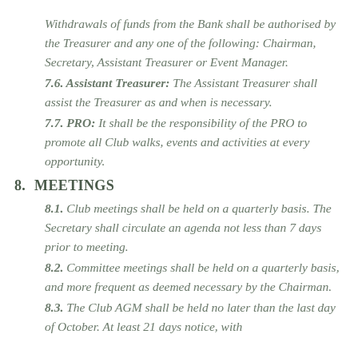Withdrawals of funds from the Bank shall be authorised by the Treasurer and any one of the following: Chairman, Secretary, Assistant Treasurer or Event Manager.
7.6. Assistant Treasurer: The Assistant Treasurer shall assist the Treasurer as and when is necessary.
7.7. PRO: It shall be the responsibility of the PRO to promote all Club walks, events and activities at every opportunity.
8. MEETINGS
8.1. Club meetings shall be held on a quarterly basis. The Secretary shall circulate an agenda not less than 7 days prior to meeting.
8.2. Committee meetings shall be held on a quarterly basis, and more frequent as deemed necessary by the Chairman.
8.3. The Club AGM shall be held no later than the last day of October. At least 21 days notice, with